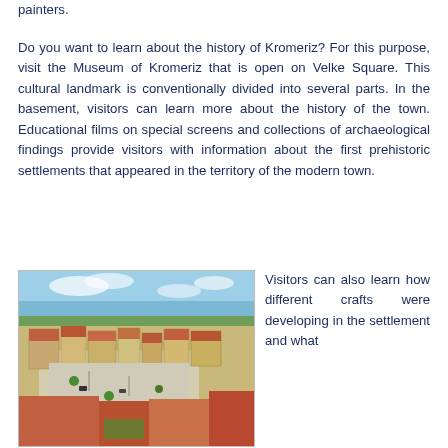painters.
Do you want to learn about the history of Kromeriz? For this purpose, visit the Museum of Kromeriz that is open on Velke Square. This cultural landmark is conventionally divided into several parts. In the basement, visitors can learn more about the history of the town. Educational films on special screens and collections of archaeological findings provide visitors with information about the first prehistoric settlements that appeared in the territory of the modern town.
[Figure (photo): Aerial view of Kromeriz town square with historic buildings and red rooftops]
Visitors can also learn how different crafts were developing in the settlement and what